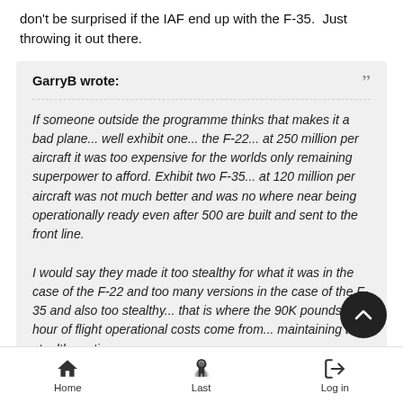don't be surprised if the IAF end up with the F-35.  Just throwing it out there.
GarryB wrote:
If someone outside the programme thinks that makes it a bad plane... well exhibit one... the F-22... at 250 million per aircraft it was too expensive for the worlds only remaining superpower to afford. Exhibit two F-35... at 120 million per aircraft was not much better and was no where near being operationally ready even after 500 are built and sent to the front line.

I would say they made it too stealthy for what it was in the case of the F-22 and too many versions in the case of the F-35 and also too stealthy... that is where the 90K pounds per hour of flight operational costs come from... maintaining the stealth coating
Home   Last   Log in